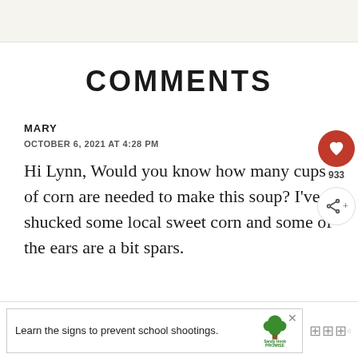COMMENTS
MARY
OCTOBER 6, 2021 AT 4:28 PM
Hi Lynn, Would you know how many cups of corn are needed to make this soup? I've shucked some local sweet corn and some of the ears are a bit spars.
[Figure (other): Sandy Hook Promise advertisement banner: 'Learn the signs to prevent school shootings.' with Sandy Hook Promise logo (tree icon)]